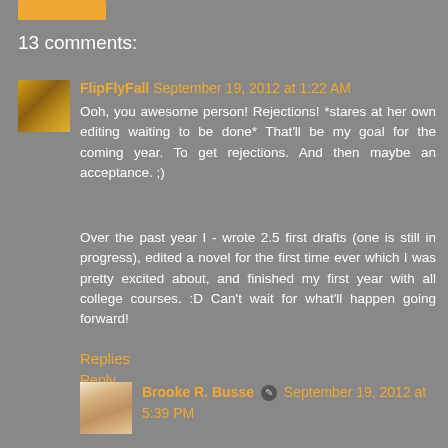13 comments:
FlipFlyFall September 19, 2012 at 1:22 AM
Ooh, you awesome person! Rejections! *stares at her own editing waiting to be done* That'll be my goal for the coming year. To get rejections. And then maybe an acceptance. ;)
Over the past year I - wrote 2.5 first drafts (one is still in progress), edited a novel for the first time ever which I was pretty excited about, and finished my first year with all college courses. :D Can't wait for what'll happen going forward!
Reply
Replies
Brooke R. Busse September 19, 2012 at 5:39 PM